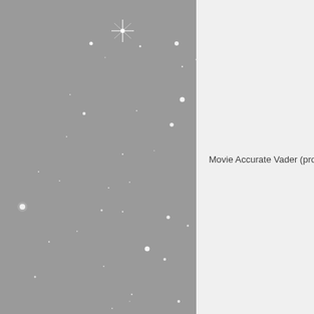[Figure (photo): A star field image on a grey background showing multiple white star points and glints, with a prominent four-pointed star flare near the top center-left area.]
Movie Accurate Vader (prop